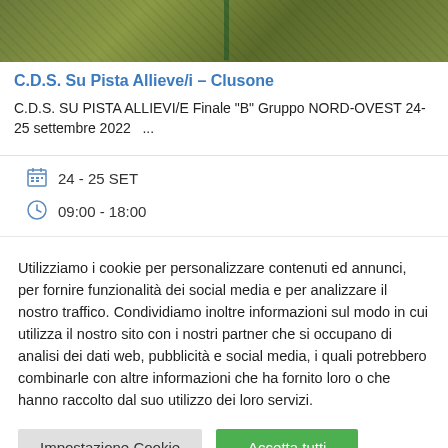[Figure (photo): Green grass/field background with a fence post visible in the center]
C.D.S. Su Pista Allieve/i – Clusone
C.D.S. SU PISTA ALLIEVI/E Finale "B" Gruppo NORD-OVEST 24-25 settembre 2022   ...
📅 24 - 25 SET
🕐 09:00 - 18:00
Utilizziamo i cookie per personalizzare contenuti ed annunci, per fornire funzionalità dei social media e per analizzare il nostro traffico. Condividiamo inoltre informazioni sul modo in cui utilizza il nostro sito con i nostri partner che si occupano di analisi dei dati web, pubblicità e social media, i quali potrebbero combinarle con altre informazioni che ha fornito loro o che hanno raccolto dal suo utilizzo dei loro servizi.
Impostazione Cookie | Accetta tutti